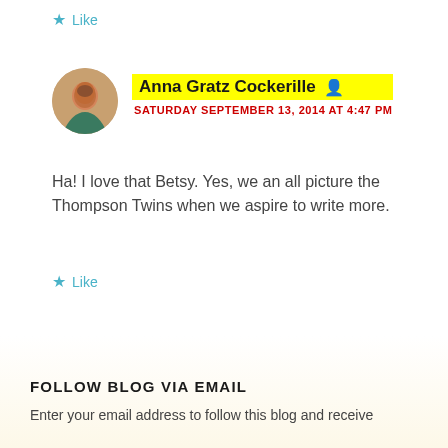Like
Anna Gratz Cockerille
SATURDAY SEPTEMBER 13, 2014 AT 4:47 PM
Ha! I love that Betsy. Yes, we an all picture the Thompson Twins when we aspire to write more.
Like
FOLLOW BLOG VIA EMAIL
Enter your email address to follow this blog and receive